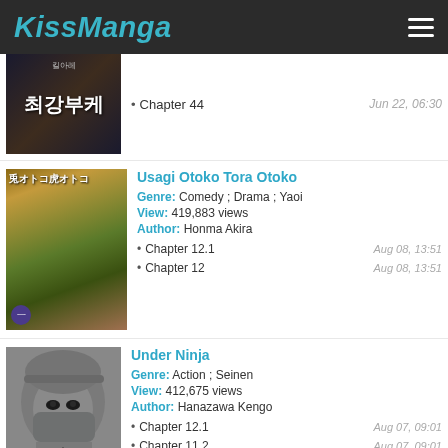KissManga
Chapter 44 — Jun 22, 06:30
Usagi Otoko Tora Otoko
Genre: Comedy ; Drama ; Yaoi
View: 419,883 views
Author: Honma Akira
Chapter 12.1 — Aug 08, 13:51
Chapter 12 — Aug 08, 13:51
Under Ninja
Genre: Action ; Seinen
View: 412,675 views
Author: Hanazawa Kengo
Chapter 12.1 — Aug 07, 09:01
Chapter 11.2 — Aug 07, 09:01